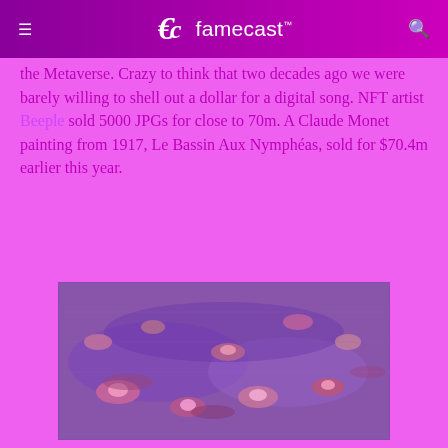famecast
the Metaverse. Crazy to think that two decades ago we were barely willing to shell out a dollar for a digital song. NFT artist Beeple sold 5000 JPGs for close to 70m. A Claude Monet painting from 1917, Le Bassin Aux Nymphéas, sold for $70.4m earlier this year.
[Figure (photo): A Claude Monet painting 'Le Bassin Aux Nymphéas' showing water lilies on a pond, rendered in purple and pink hues]